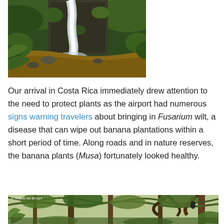[Figure (photo): A waterfall cascading down a lush green moss-covered cliff face into a reddish-brown muddy pool area, surrounded by tropical vegetation.]
Our arrival in Costa Rica immediately drew attention to the need to protect plants as the airport had numerous signs warning travelers about bringing in Fusarium wilt, a disease that can wipe out banana plantations within a short period of time. Along roads and in nature reserves, the banana plants (Musa) fortunately looked healthy.
[Figure (photo): A nature reserve or forest scene with large tropical trees, green foliage, and banana plants visible. Copyright mark: © Maria de Bruyn.]